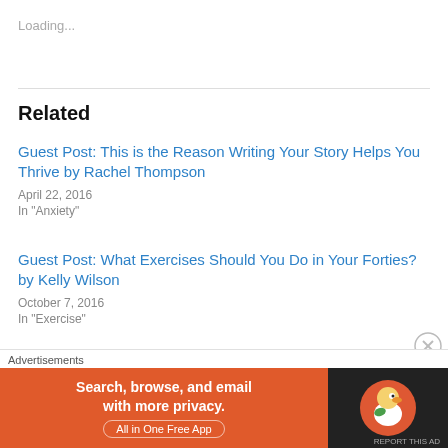Loading...
Related
Guest Post: This is the Reason Writing Your Story Helps You Thrive by Rachel Thompson
April 22, 2016
In "Anxiety"
Guest Post: What Exercises Should You Do in Your Forties? by Kelly Wilson
October 7, 2016
In "Exercise"
Guest Post: Write Whatever the Hell You Want by Lindsay
Advertisements
[Figure (screenshot): DuckDuckGo advertisement banner: 'Search, browse, and email with more privacy. All in One Free App' with DuckDuckGo logo on dark background]